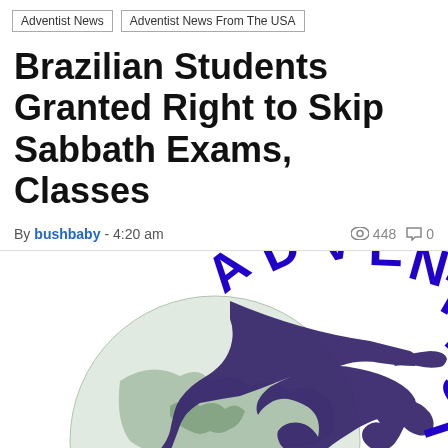Adventist News  |  Adventist News From The USA
Brazilian Students Granted Right to Skip Sabbath Exams, Classes
By bushbaby - 4:20 am   👁 448  💬 0
[Figure (logo): Adventist News logo: a globe with green continents, dark purple silhouettes of angel-like figures blowing trumpets, and blue bold curved text reading 'ADVENTIST-NE' (ADVENTIST NEWS) arcing over the top]